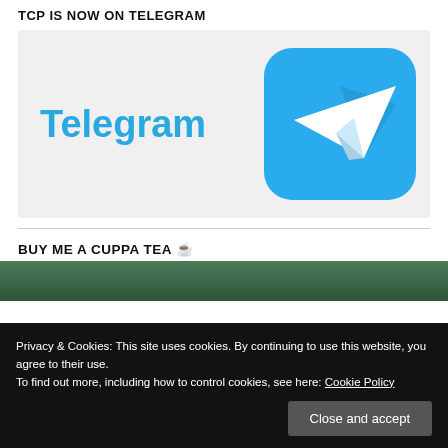TCP IS NOW ON TELEGRAM
[Figure (logo): Telegram logo banner with the word 'Telegram' in blue on a light gray background, and the Telegram paper plane icon in a blue rounded square on the right.]
BUY ME A CUPPA TEA ☕
[Figure (photo): Partial photo of a tea cup, cut off at bottom of page, with cookie consent banner overlaid.]
Privacy & Cookies: This site uses cookies. By continuing to use this website, you agree to their use.
To find out more, including how to control cookies, see here: Cookie Policy